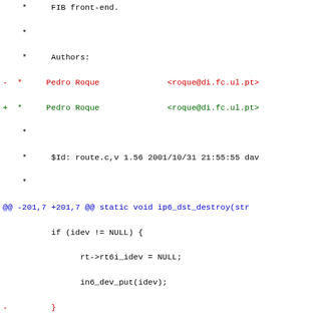Code diff showing changes to route.c including ip6_dst_destroy and ip6_dst_ifdown static functions, with author attribution to Pedro Roque.